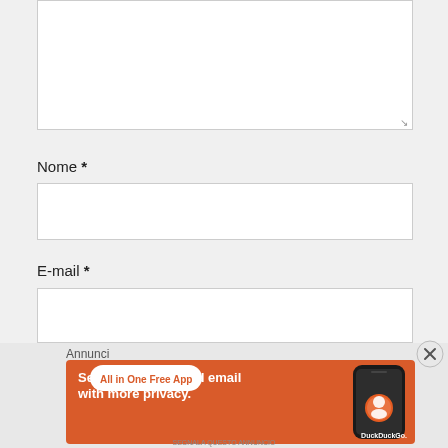[Figure (screenshot): Comment textarea (partially visible at top of page), empty white input box with resize handle]
Nome *
[Figure (screenshot): Nome input field, empty white text box]
E-mail *
[Figure (screenshot): E-mail input field, empty white text box (partially visible)]
Annunci
[Figure (screenshot): DuckDuckGo advertisement banner: orange background, white text 'Search, browse, and email with more privacy.', white pill button 'All in One Free App', phone image on right with DuckDuckGo logo]
[Figure (screenshot): Close (X) button circle on right side]
SEGNALA QUESTO ANNUNCIO